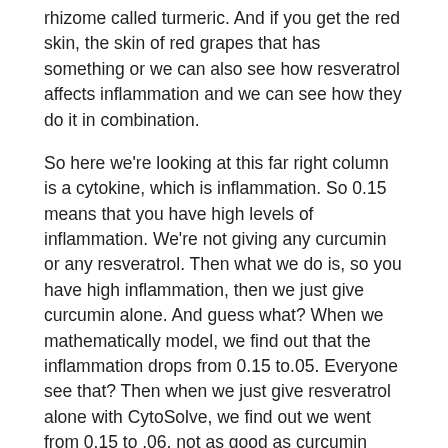rhizome called turmeric. And if you get the red skin, the skin of red grapes that has something or we can also see how resveratrol affects inflammation and we can see how they do it in combination.
So here we're looking at this far right column is a cytokine, which is inflammation. So 0.15 means that you have high levels of inflammation. We're not giving any curcumin or any resveratrol. Then what we do is, so you have high inflammation, then we just give curcumin alone. And guess what? When we mathematically model, we find out that the inflammation drops from 0.15 to.05. Everyone see that? Then when we just give resveratrol alone with CytoSolve, we find out we went from 0.15 to .06, not as good as curcumin here, but then watch what happens when we combine them.
It's called the synergistic effect. That's why foods are